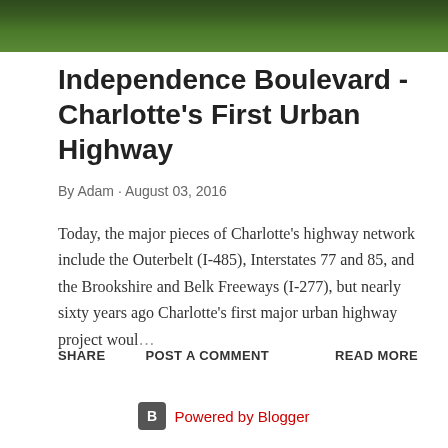[Figure (photo): Photo strip showing green tree foliage at the top of the page]
Independence Boulevard - Charlotte's First Urban Highway
By Adam · August 03, 2016
Today, the major pieces of Charlotte's highway network include the Outerbelt (I-485), Interstates 77 and 85, and the Brookshire and Belk Freeways (I-277), but nearly sixty years ago Charlotte's first major urban highway project woul…
SHARE   POST A COMMENT   READ MORE
Powered by Blogger